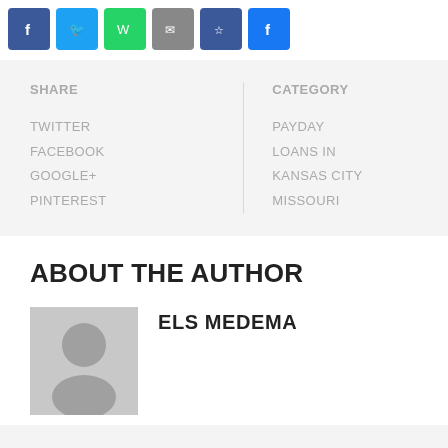[Figure (other): Social sharing icon buttons: Facebook, Twitter, WhatsApp, Email, unknown, Facebook]
SHARE
TWITTER
FACEBOOK
GOOGLE+
PINTEREST
CATEGORY
PAYDAY LOANS IN KANSAS CITY MISSOURI
ABOUT THE AUTHOR
[Figure (photo): Generic gray user avatar placeholder image]
ELS MEDEMA